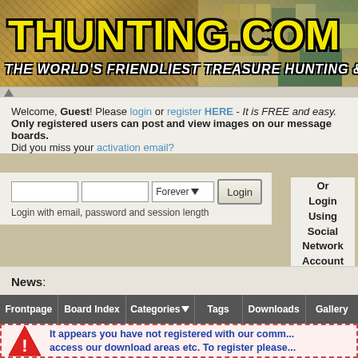[Figure (screenshot): Website header banner with stone/mosaic texture background showing THUNTING.COM logo in yellow with black outline and tagline text]
THUNTING.COM
THE WORLD'S FRIENDLIEST TREASURE HUNTING & METAL DE...
Welcome, Guest! Please login or register HERE - It is FREE and easy. Only registered users can post and view images on our message boards. Did you miss your activation email?
Or Login Using Social Network Account
Login with email, password and session length
News:
Frontpage   Board Index   Categories   Tags   Downloads   Gallery
It appears you have not registered with our comm... access our download areas etc. To register please...